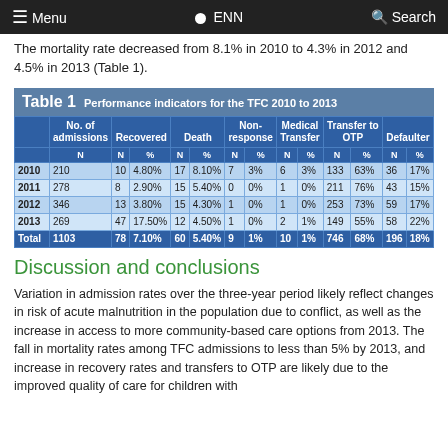Menu   ENN   Search
The mortality rate decreased from 8.1% in 2010 to 4.3% in 2012 and 4.5% in 2013 (Table 1).
|  | No. of admissions N | Recovered N | Recovered % | Death N | Death % | Non-response N | Non-response % | Medical Transfer N | Medical Transfer % | Transfer to OTP N | Transfer to OTP % | Defaulter N | Defaulter % |
| --- | --- | --- | --- | --- | --- | --- | --- | --- | --- | --- | --- | --- | --- |
| 2010 | 210 | 10 | 4.80% | 17 | 8.10% | 7 | 3% | 6 | 3% | 133 | 63% | 36 | 17% |
| 2011 | 278 | 8 | 2.90% | 15 | 5.40% | 0 | 0% | 1 | 0% | 211 | 76% | 43 | 15% |
| 2012 | 346 | 13 | 3.80% | 15 | 4.30% | 1 | 0% | 1 | 0% | 253 | 73% | 59 | 17% |
| 2013 | 269 | 47 | 17.50% | 12 | 4.50% | 1 | 0% | 2 | 1% | 149 | 55% | 58 | 22% |
| Total | 1103 | 78 | 7.10% | 60 | 5.40% | 9 | 1% | 10 | 1% | 746 | 68% | 196 | 18% |
Discussion and conclusions
Variation in admission rates over the three-year period likely reflect changes in risk of acute malnutrition in the population due to conflict, as well as the increase in access to more community-based care options from 2013. The fall in mortality rates among TFC admissions to less than 5% by 2013, and increase in recovery rates and transfers to OTP are likely due to the improved quality of care for children with